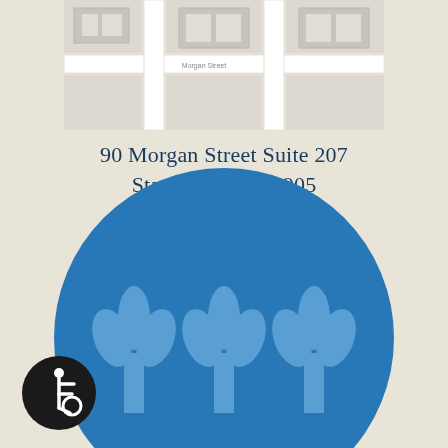[Figure (map): Partial street map showing building location at 90 Morgan Street Suite 207, Stamford CT]
90 Morgan Street Suite 207
Stamford, CT 06905
[Figure (logo): Blue Cross Blue Shield logo — large blue circle with stylized cross and shield tulip symbols in lighter blue, partially cropped at bottom of page]
[Figure (illustration): Accessibility icon — white wheelchair symbol on dark circular background, bottom left corner]